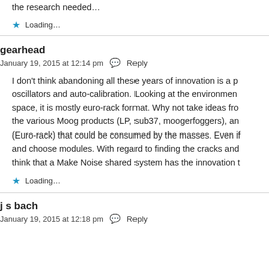the research needed…
Loading…
gearhead
January 19, 2015 at 12:14 pm  Reply
I don't think abandoning all these years of innovation is a p... oscillators and auto-calibration. Looking at the environmen... space, it is mostly euro-rack format. Why not take ideas fro... the various Moog products (LP, sub37, moogerfoggers), an... (Euro-rack) that could be consumed by the masses. Even if... and choose modules. With regard to finding the cracks and... think that a Make Noise shared system has the innovation t...
Loading…
j s bach
January 19, 2015 at 12:18 pm  Reply